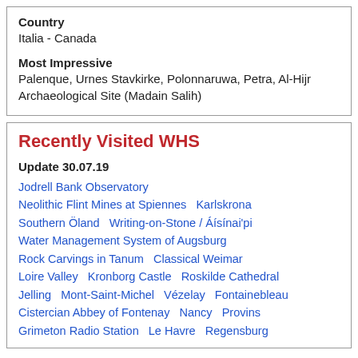Country
Italia - Canada
Most Impressive
Palenque, Urnes Stavkirke, Polonnaruwa, Petra, Al-Hijr Archaeological Site (Madain Salih)
Recently Visited WHS
Update 30.07.19
Jodrell Bank Observatory  Neolithic Flint Mines at Spiennes  Karlskrona  Southern Öland  Writing-on-Stone / Áísínai'pi  Water Management System of Augsburg  Rock Carvings in Tanum  Classical Weimar  Loire Valley  Kronborg Castle  Roskilde Cathedral  Jelling  Mont-Saint-Michel  Vézelay  Fontainebleau  Cistercian Abbey of Fontenay  Nancy  Provins  Grimeton Radio Station  Le Havre  Regensburg